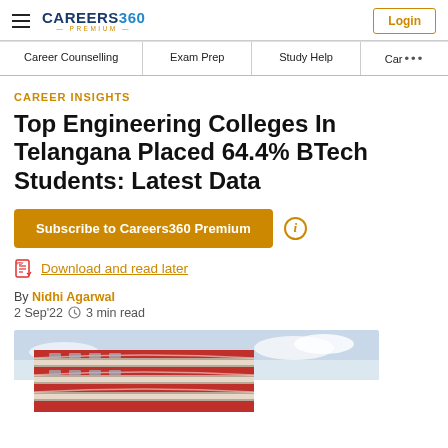Careers360 Premium — Login
Career Counselling | Exam Prep | Study Help | Car ...
CAREER INSIGHTS
Top Engineering Colleges In Telangana Placed 64.4% BTech Students: Latest Data
Subscribe to Careers360 Premium
Download and read later
By Nidhi Agarwal
2 Sep'22  3 min read
[Figure (photo): Building / college campus exterior photo showing a multi-storey red and white striped building against a cloudy sky]